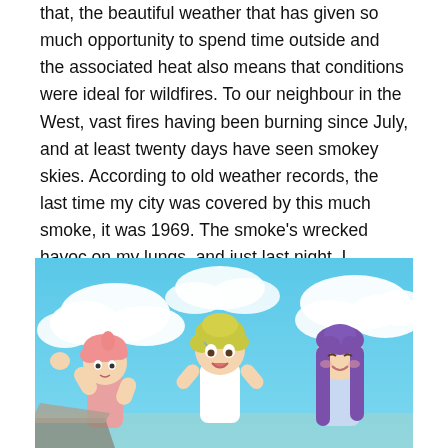that, the beautiful weather that has given so much opportunity to spend time outside and the associated heat also means that conditions were ideal for wildfires. To our neighbour in the West, vast fires having been burning since July, and at least twenty days have seen smokey skies. According to old weather records, the last time my city was covered by this much smoke, it was 1969. The smoke's wrecked havoc on my lungs, and just last night, I awoken to a face full of smoke.
[Figure (illustration): Anime-style illustration of three cartoon characters outdoors under a bright blue sky with white clouds. Left: a child with pink hair waving. Center: a character with yellow-green hair looking distressed, wearing a white top. Right: a character with long purple hair smiling.]